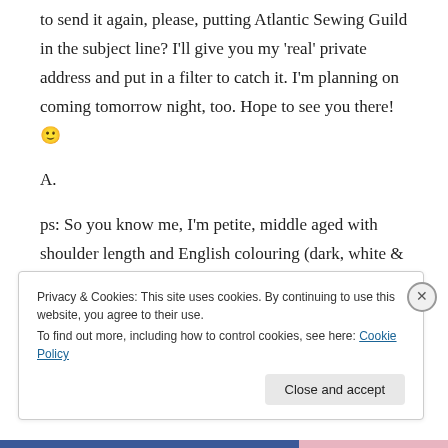to send it again, please, putting Atlantic Sewing Guild in the subject line? I'll give you my 'real' private address and put in a filter to catch it. I'm planning on coming tomorrow night, too. Hope to see you there! 🙂
A.
ps: So you know me, I'm petite, middle aged with shoulder length and English colouring (dark, white & red). LOL
Privacy & Cookies: This site uses cookies. By continuing to use this website, you agree to their use.
To find out more, including how to control cookies, see here: Cookie Policy
Close and accept